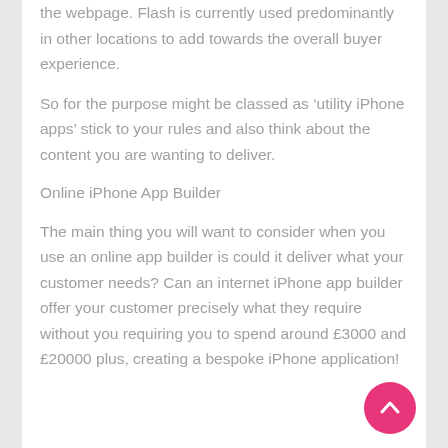the webpage. Flash is currently used predominantly in other locations to add towards the overall buyer experience.
So for the purpose might be classed as ‘utility iPhone apps’ stick to your rules and also think about the content you are wanting to deliver.
Online iPhone App Builder
The main thing you will want to consider when you use an online app builder is could it deliver what your customer needs? Can an internet iPhone app builder offer your customer precisely what they require without you requiring you to spend around £3000 and £20000 plus, creating a bespoke iPhone application!